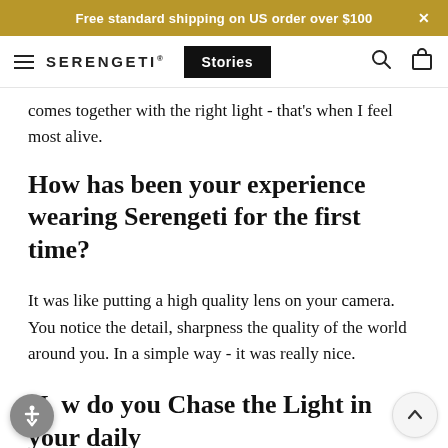Free standard shipping on US order over $100 ×
≡  SERENGETI  Stories  🔍  🛍
comes together with the right light - that's when I feel most alive.
How has been your experience wearing Serengeti for the first time?
It was like putting a high quality lens on your camera. You notice the detail, sharpness the quality of the world around you. In a simple way - it was really nice.
How do you Chase the Light in your daily